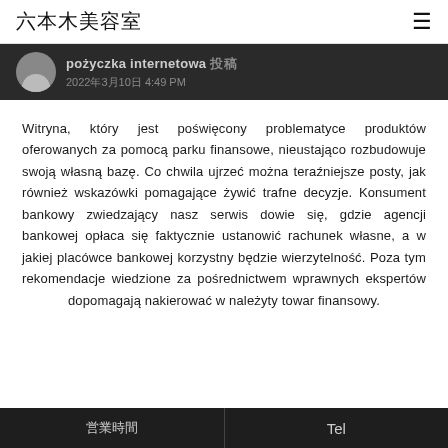六本木美容室
[Figure (other): Dark banner with avatar placeholder and text: pożyczka internetowa, 2022年3月10日 4:49 PM]
Witryna, który jest poświęcony problematyce produktów oferowanych za pomocą parku finansowe, nieustająco rozbudowuje swoją własną bazę. Co chwila ujrzeć można teraźniejsze posty, jak również wskazówki pomagające żywić trafne decyzje. Konsument bankowy zwiedzający nasz serwis dowie się, gdzie agencji bankowej opłaca się faktycznie ustanowić rachunek własne, a w jakiej placówce bankowej korzystny będzie wierzytelność. Poza tym rekomendacje wiedzione za pośrednictwem wprawnych ekspertów dopomagają nakierować w należyty towar finansowy.
営業時間　Tel